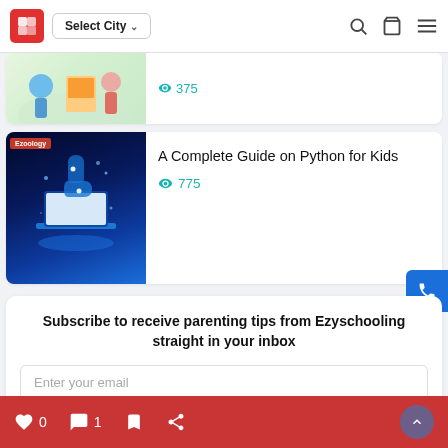[Figure (screenshot): Website navigation bar with red cube logo, Select City dropdown, search icon, bag icon, and menu icon]
[Figure (screenshot): Partial card showing colorful illustration with calculator and people, view count 375]
[Figure (photo): Python programming article card with glowing Python logo on laptop, title: A Complete Guide on Python for Kids, 775 views]
A Complete Guide on Python for Kids
775
Subscribe to receive parenting tips from Ezyschooling straight in your inbox
Enter your email